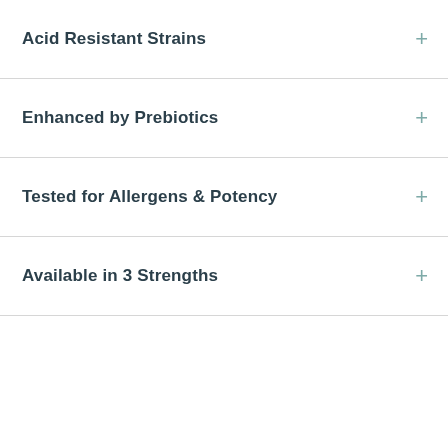Acid Resistant Strains
Enhanced by Prebiotics
Tested for Allergens & Potency
Available in 3 Strengths